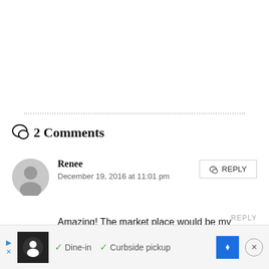2 Comments
Renee
December 19, 2016 at 11:01 pm
Amazing! The market place would be my favorite!
[Figure (screenshot): Advertisement bar at bottom with restaurant logo, dine-in and curbside pickup checkmarks, navigation diamond icon, and close button]